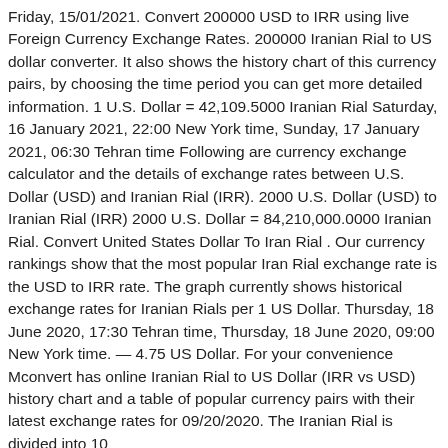Friday, 15/01/2021. Convert 200000 USD to IRR using live Foreign Currency Exchange Rates. 200000 Iranian Rial to US dollar converter. It also shows the history chart of this currency pairs, by choosing the time period you can get more detailed information. 1 U.S. Dollar = 42,109.5000 Iranian Rial Saturday, 16 January 2021, 22:00 New York time, Sunday, 17 January 2021, 06:30 Tehran time Following are currency exchange calculator and the details of exchange rates between U.S. Dollar (USD) and Iranian Rial (IRR). 2000 U.S. Dollar (USD) to Iranian Rial (IRR) 2000 U.S. Dollar = 84,210,000.0000 Iranian Rial. Convert United States Dollar To Iran Rial . Our currency rankings show that the most popular Iran Rial exchange rate is the USD to IRR rate. The graph currently shows historical exchange rates for Iranian Rials per 1 US Dollar. Thursday, 18 June 2020, 17:30 Tehran time, Thursday, 18 June 2020, 09:00 New York time. — 4.75 US Dollar. For your convenience Mconvert has online Iranian Rial to US Dollar (IRR vs USD) history chart and a table of popular currency pairs with their latest exchange rates for 09/20/2020. The Iranian Rial is divided into 10